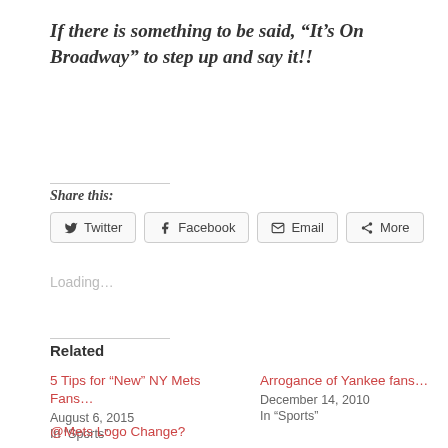If there is something to be said, “It’s On Broadway” to step up and say it!!
Share this:
Twitter  Facebook  Email  More
Loading…
Related
5 Tips for “New” NY Mets Fans…
August 6, 2015
In “Sports”
Arrogance of Yankee fans…
December 14, 2010
In “Sports”
@Mets Logo Change?